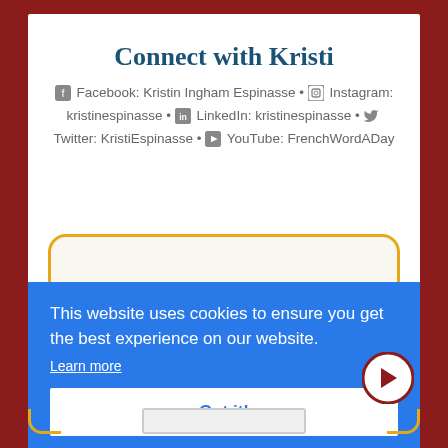Connect with Kristi
Facebook: Kristin Ingham Espinasse • Instagram: kristinespinasse • LinkedIn: kristinespinasse • Twitter: KristiEspinasse • YouTube: FrenchWordADay
[Figure (screenshot): Cookie consent banner overlay in blue with text 'This website uses cookies to ensure you get the best experience on our website.' with a 'Learn more' link and a 'Got it!' button]